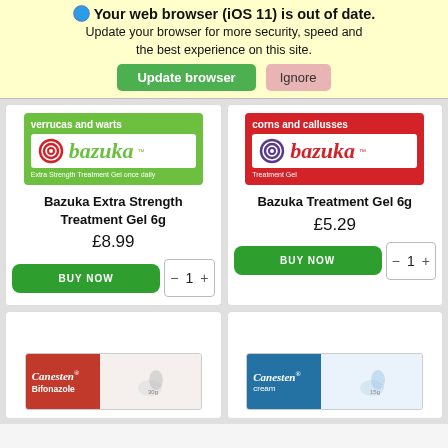Your web browser (iOS 11) is out of date. Update your browser for more security, speed and the best experience on this site.
Update browser | Ignore
[Figure (photo): Bazuka Extra Strength Treatment Gel 6g product box (green)]
Bazuka Extra Strength Treatment Gel 6g
£8.99
BUY NOW  — 1 +
[Figure (photo): Bazuka Treatment Gel 6g product box (red)]
Bazuka Treatment Gel 6g
£5.29
BUY NOW  — 1 +
[Figure (photo): Canesten Bifonazole cream product box (red/white)]
[Figure (photo): Canesten cream product box (blue/white) 15g]